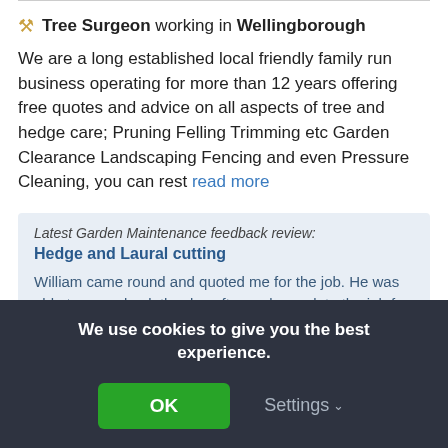🔧 Tree Surgeon working in Wellingborough
We are a long established local friendly family run business operating for more than 12 years offering free quotes and advice on all aspects of tree and hedge care; Pruning Felling Trimming etc Garden Clearance Landscaping Fencing and even Pressure Cleaning, you can rest read more
Latest Garden Maintenance feedback review: Hedge and Laural cutting
William came round and quoted me for the job. He was able to come back the day after and complete the job for me, leaving my garden tidy and manageable once
We use cookies to give you the best experience.